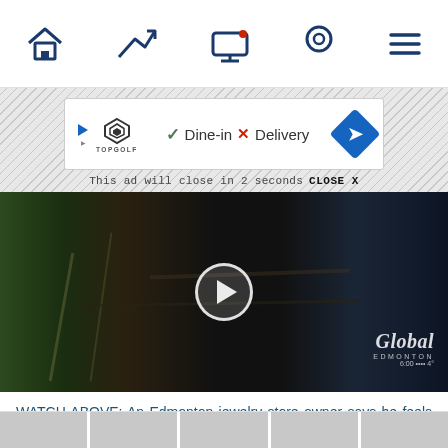Navigation bar with home, trending, video, location, and menu icons
[Figure (screenshot): Advertisement banner for Topgolf showing Dine-in and Delivery options with a blue diamond arrow icon. Below: 'This ad will close in 2 seconds  CLOSE X']
[Figure (screenshot): Video thumbnail showing interior of a jewelry store with display cases, dark scene, play button overlay, and Global Edmonton watermark in bottom right]
WATCH ABOVE: An Edmonton jewelry store owner says he feels his business is as protected from thieves as it can be now that he's installed a unique security device that uses smoke to try and prevent potential thefts. Sarah Kraus explains — Sep 14, 2018
[Figure (screenshot): Row of five grey thumbnail images at the bottom of the page]